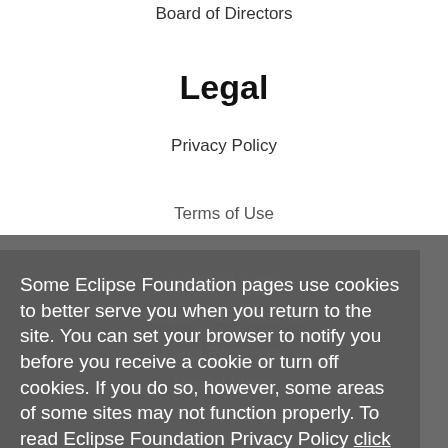Board of Directors
Legal
Privacy Policy
Terms of Use
Copyright Agent
Eclipse Public License
Legal Resources
Useful Links
Report a Bug
Documentation
How to Contribute
Mailing Lists
Forums
Some Eclipse Foundation pages use cookies to better serve you when you return to the site. You can set your browser to notify you before you receive a cookie or turn off cookies. If you do so, however, some areas of some sites may not function properly. To read Eclipse Foundation Privacy Policy click here.